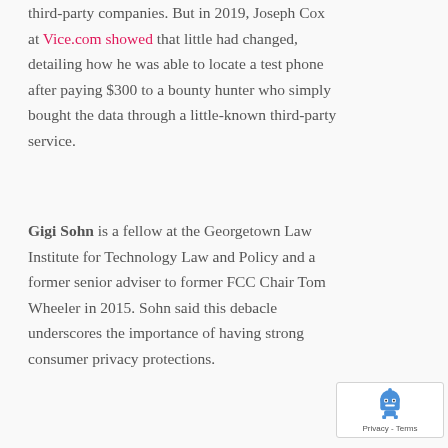third-party companies. But in 2019, Joseph Cox at Vice.com showed that little had changed, detailing how he was able to locate a test phone after paying $300 to a bounty hunter who simply bought the data through a little-known third-party service.
Gigi Sohn is a fellow at the Georgetown Law Institute for Technology Law and Policy and a former senior adviser to former FCC Chair Tom Wheeler in 2015. Sohn said this debacle underscores the importance of having strong consumer privacy protections.
[Figure (other): reCAPTCHA badge with robot icon and Privacy - Terms text]